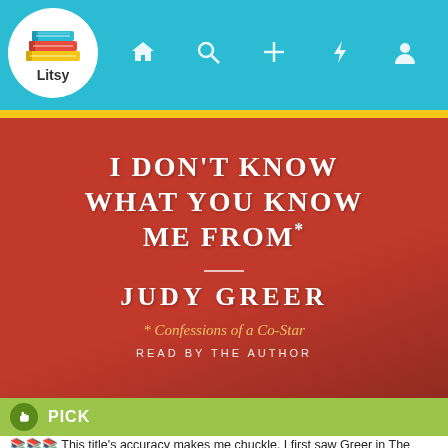[Figure (screenshot): Litsy app navigation bar with teal background, Litsy logo (book stack icon in white circle), and nav icons: home, search, plus, lightning, profile]
[Figure (photo): Book cover for 'I Don't Know What You Know Me From' by Judy Greer, subtitled 'Confessions of a Co-Star, Read by the Author'. Red background with white and gold text.]
PICK
📚📚📚 This title's accuracy makes me chuckle. I first saw Greer in The Wedding Planner, which I've seen a gazillion times, but I'm not gonna lie, I had to IMDB her. She's Ant-Man's ex-wife, y'all. I *just* watched those movies in the last few months. 😊 This memoir felt intentionally light. I loved the blue rain jacket story most. Greer seems like a normal, pretty cool person: the perpetual co-star